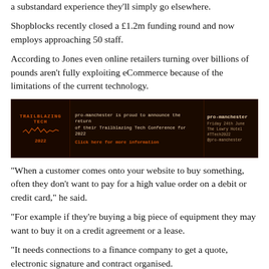a substandard experience they'll simply go elsewhere.
Shopblocks recently closed a £1.2m funding round and now employs approaching 50 staff.
According to Jones even online retailers turning over billions of pounds aren't fully exploiting eCommerce because of the limitations of the current technology.
[Figure (infographic): pro-manchester Trailblazing Tech Conference 2022 advertisement banner with dark background, showing event details and a click here for more information link.]
“When a customer comes onto your website to buy something, often they don’t want to pay for a high value order on a debit or credit card,” he said.
“For example if they’re buying a big piece of equipment they may want to buy it on a credit agreement or a lease.
“It needs connections to a finance company to get a quote, electronic signature and contract organised.